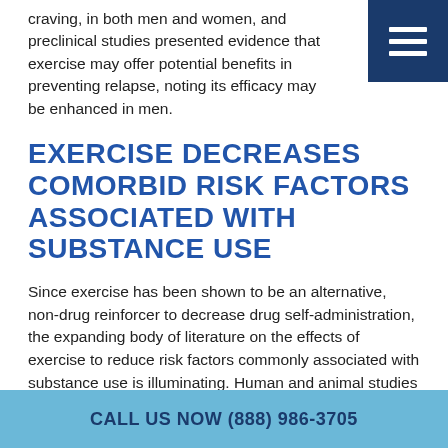craving, in both men and women, and preclinical studies presented evidence that exercise may offer potential benefits in preventing relapse, noting its efficacy may be enhanced in men.
EXERCISE DECREASES COMORBID RISK FACTORS ASSOCIATED WITH SUBSTANCE USE
Since exercise has been shown to be an alternative, non-drug reinforcer to decrease drug self-administration, the expanding body of literature on the effects of exercise to reduce risk factors commonly associated with substance use is illuminating. Human and animal studies found that exercise decreases feelings of anxiety and depression.
CALL US NOW (888) 986-3705